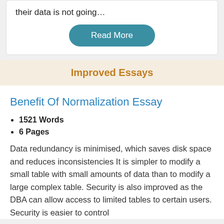their data is not going…
Read More
Improved Essays
Benefit Of Normalization Essay
1521 Words
6 Pages
Data redundancy is minimised, which saves disk space and reduces inconsistencies It is simpler to modify a small table with small amounts of data than to modify a large complex table. Security is also improved as the DBA can allow access to limited tables to certain users. Security is easier to control